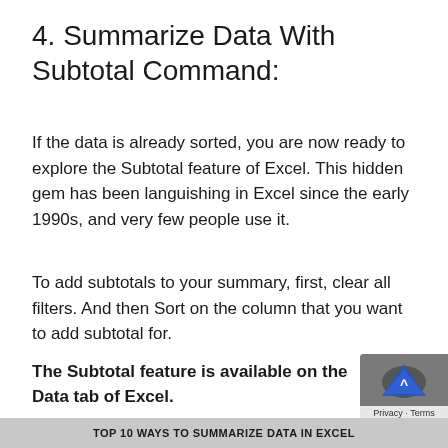4. Summarize Data With Subtotal Command:
If the data is already sorted, you are now ready to explore the Subtotal feature of Excel. This hidden gem has been languishing in Excel since the early 1990s, and very few people use it.
To add subtotals to your summary, first, clear all filters. And then Sort on the column that you want to add subtotal for.
The Subtotal feature is available on the Data tab of Excel.
TOP 10 WAYS TO SUMMARIZE DATA IN EXCEL